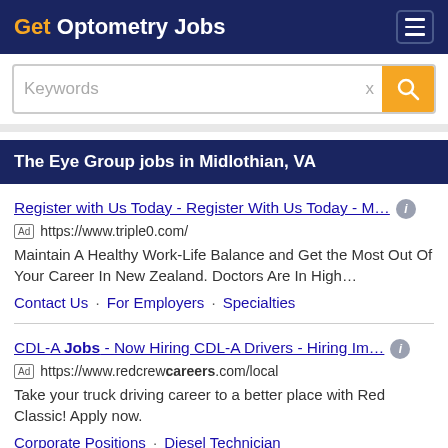Get Optometry Jobs
Keywords
The Eye Group jobs in Midlothian, VA
Register with Us Today - Register With Us Today - M…
Ad https://www.triple0.com/
Maintain A Healthy Work-Life Balance and Get the Most Out Of Your Career In New Zealand. Doctors Are In High…
Contact Us · For Employers · Specialties
CDL-A Jobs - Now Hiring CDL-A Drivers - Hiring Im…
Ad https://www.redcrewcareers.com/local
Take your truck driving career to a better place with Red Classic! Apply now.
Corporate Positions · Diesel Technician